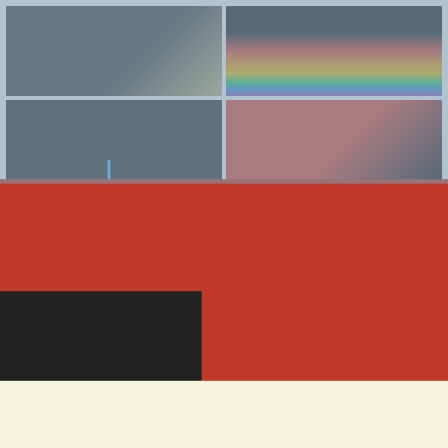[Figure (photo): Close-up of dark rubber granule surface with wooden decking visible at edge]
[Figure (photo): Colourful striped rubber surface with rainbow pattern colours]
[Figure (photo): Playground rubber wetpour surface with large orange circle and small red circle, spinner equipment in centre]
[Figure (photo): School courtyard with red, black and beige coloured rubber flooring, metal railings and canopy]
Play Area Rubber Surfaces in Adabroc
Playground Wetpour Flooring
Wetpour Safety Surface in Adabroc
Wetpour Surface Repairs in Adabroc
Wetpour DIY Repair Kits in Adabroc
EPDM Wet Pour Graphics in Adabroc
Wet Pour Flooring Maintenance in Adabroc
Rubber Mulch Services
Rubber Mulch Surface in Adabroc